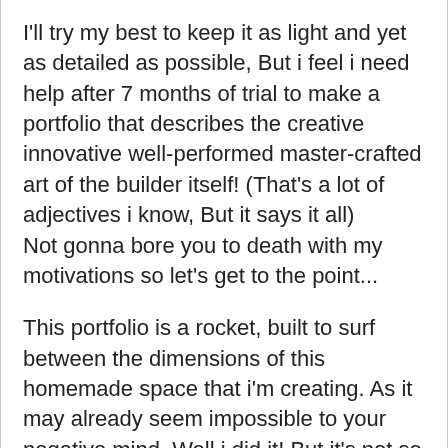I'll try my best to keep it as light and yet as detailed as possible, But i feel i need help after 7 months of trial to make a portfolio that describes the creative innovative well-performed master-crafted art of the builder itself! (That's a lot of adjectives i know, But it says it all)
Not gonna bore you to death with my motivations so let's get to the point...
This portfolio is a rocket, built to surf between the dimensions of this homemade space that i'm creating. As it may already seem impossible to your negative mind, Well i did it! But it's not so smooth (duh).
You see there is a LOT of flying in this project and you guessed it, I use scales, rotations, x, y, opacity and such to deliver that flying effect to a few different